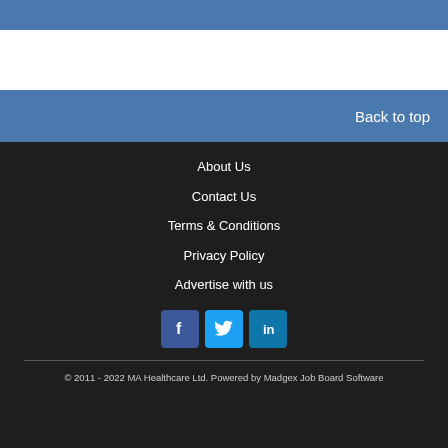Back to top
About Us
Contact Us
Terms & Conditions
Privacy Policy
Advertise with us
[Figure (illustration): Social media icons: Facebook, Twitter, LinkedIn]
© 2011 - 2022 MA Healthcare Ltd. Powered by Madgex Job Board Software